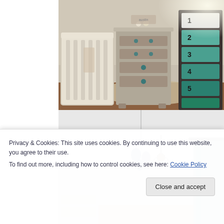[Figure (photo): Top photo showing a nursery room with a white wooden crib on the left, a gray painted dresser with teal knobs in the center, and a tall dark dresser with numbered teal drawers (1-5) on the right. Wood floor with a light rug visible.]
[Figure (photo): Bottom photo showing a room interior with white ceiling and walls, teal/blue curtain on the right side, a mobile or decorative element hanging, and partial view of nursery furniture.]
Privacy & Cookies: This site uses cookies. By continuing to use this website, you agree to their use.
To find out more, including how to control cookies, see here: Cookie Policy
Close and accept